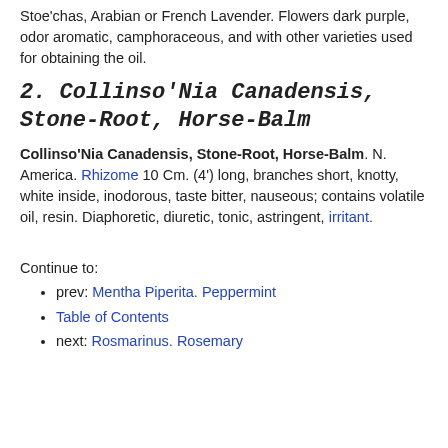Stoe'chas, Arabian or French Lavender. Flowers dark purple, odor aromatic, camphoraceous, and with other varieties used for obtaining the oil.
2. Collinso'Nia Canadensis, Stone-Root, Horse-Balm
Collinso'Nia Canadensis, Stone-Root, Horse-Balm. N. America. Rhizome 10 Cm. (4') long, branches short, knotty, white inside, inodorous, taste bitter, nauseous; contains volatile oil, resin. Diaphoretic, diuretic, tonic, astringent, irritant.
Continue to:
prev: Mentha Piperita. Peppermint
Table of Contents
next: Rosmarinus. Rosemary